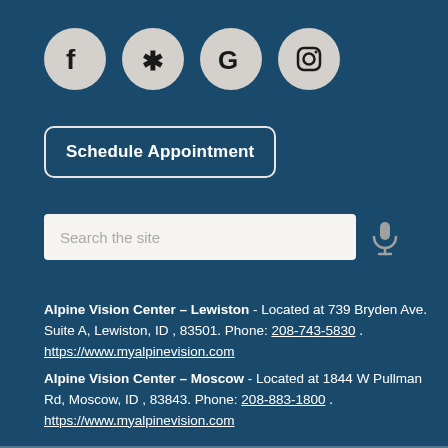[Figure (infographic): Four social media icon circles: Facebook, Yelp, Google, Instagram on dark blue background]
Schedule Appointment
[Figure (other): Search input field with placeholder 'Search the site' and microphone icon]
Alpine Vision Center – Lewiston - Located at 739 Bryden Ave. Suite A, Lewiston, ID , 83501. Phone: 208-743-5830 . https://www.myalpinevision.com
Alpine Vision Center – Moscow - Located at 1844 W Pullman Rd, Moscow, ID , 83843. Phone: 208-883-1800 . https://www.myalpinevision.com